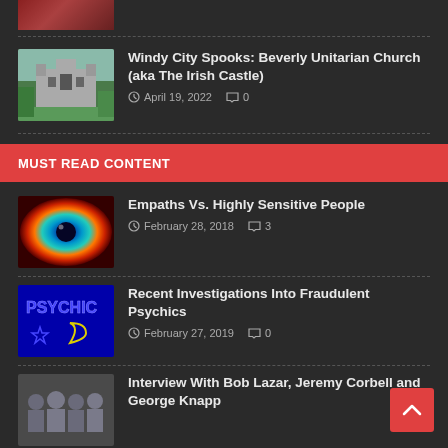[Figure (photo): Partial thumbnail of a reddish image at top]
Windy City Spooks: Beverly Unitarian Church (aka The Irish Castle)
April 19, 2022  0
MUST READ CONTENT
Empaths Vs. Highly Sensitive People
February 28, 2018  3
Recent Investigations Into Fraudulent Psychics
February 27, 2019  0
Interview With Bob Lazar, Jeremy Corbell and George Knapp